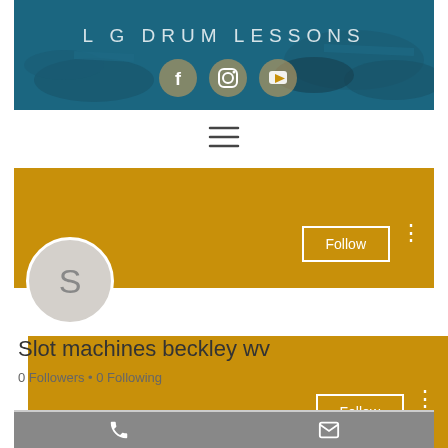[Figure (screenshot): Website header banner for LG Drum Lessons with teal/blue background showing drum kit, site title text, and social media icons for Facebook, Instagram, and YouTube]
L G DRUM LESSONS
[Figure (infographic): Hamburger menu icon (three horizontal lines)]
[Figure (screenshot): Golden/amber profile banner with Follow button and three-dot menu icon]
[Figure (infographic): Circular avatar with letter S on light gray background]
Slot machines beckley wv
0 Followers • 0 Following
[Figure (infographic): Gray bottom toolbar with phone icon and email envelope icon]